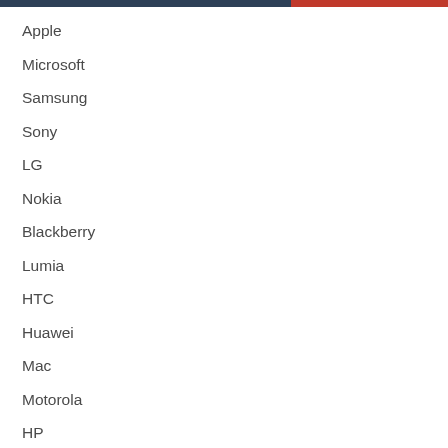Apple
Microsoft
Samsung
Sony
LG
Nokia
Blackberry
Lumia
HTC
Huawei
Mac
Motorola
HP
Nikon
Blu
Bose
Gionee
Kyocera Brigadier
Toshiba